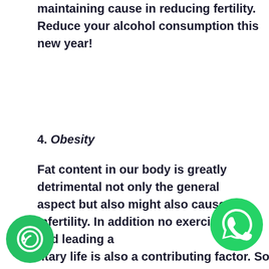maintaining cause in reducing fertility. Reduce your alcohol consumption this new year!
4. Obesity
Fat content in our body is greatly detrimental not only the general aspect but also might also cause infertility. In addition no exercising and leading a sedentary life is also a contributing factor. So pick up your running shoes!
[Figure (illustration): WhatsApp chat icon (green circle with white speech bubble and phone)]
[Figure (illustration): Phone call icon (green circle with white phone/signal symbol)]